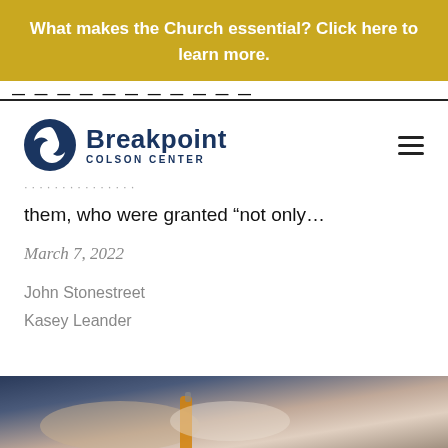What makes the Church essential? Click here to learn more.
[Figure (logo): Breakpoint Colson Center logo with dark blue circular icon and text]
them, who were granted “not only…
March 7, 2022
John Stonestreet
Kasey Leander
[Figure (photo): Close-up photograph of hands holding a paintbrush]